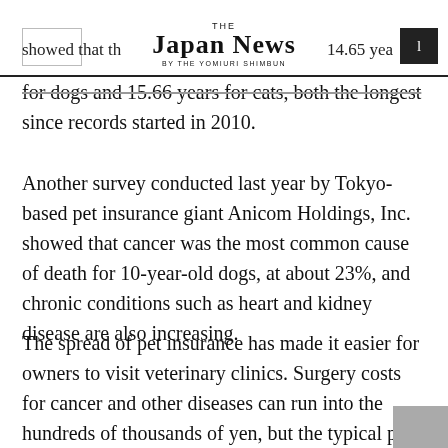THE JAPAN NEWS BY THE YOMIURI SHIMBUN
showed that the average lifespan was 14.65 years for dogs and 15.66 years for cats, both the longest since records started in 2010.
Another survey conducted last year by Tokyo-based pet insurance giant Anicom Holdings, Inc. showed that cancer was the most common cause of death for 10-year-old dogs, at about 23%, and chronic conditions such as heart and kidney disease are also increasing.
The spread of pet insurance has made it easier for owners to visit veterinary clinics. Surgery costs for cancer and other diseases can run into the hundreds of thousands of yen, but the typical pet insurance policy covers 70% of the costs. According to a 2020